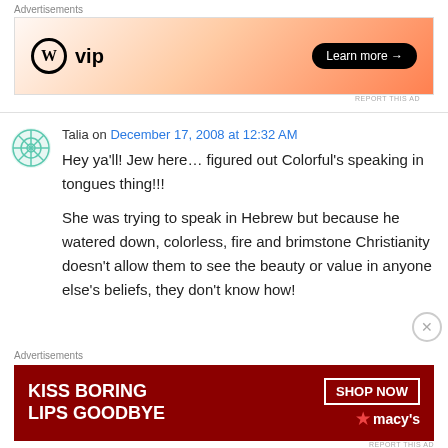[Figure (other): WordPress VIP advertisement banner with orange gradient background, WP logo, and 'Learn more' button]
Talia on December 17, 2008 at 12:32 AM
Hey ya'll! Jew here… figured out Colorful's speaking in tongues thing!!!
She was trying to speak in Hebrew but because he watered down, colorless, fire and brimstone Christianity doesn't allow them to see the beauty or value in anyone else's beliefs, they don't know how!
[Figure (other): Macy's advertisement banner with dark red background showing 'KISS BORING LIPS GOODBYE' text and 'SHOP NOW' button with Macy's logo]